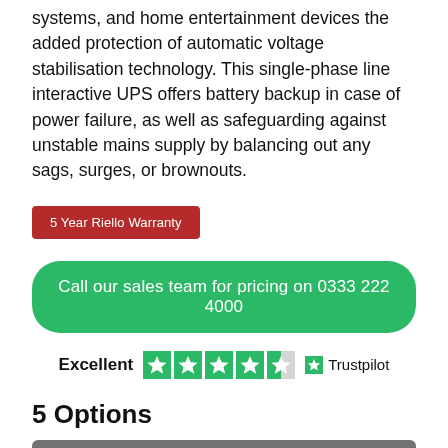systems, and home entertainment devices the added protection of automatic voltage stabilisation technology. This single-phase line interactive UPS offers battery backup in case of power failure, as well as safeguarding against unstable mains supply by balancing out any sags, surges, or brownouts.
5 Year Riello Warranty
Call our sales team for pricing on 0333 222 4000
Excellent  ★★★★½  Trustpilot
5 Options
Net Power 600VA
Net Power 800VA